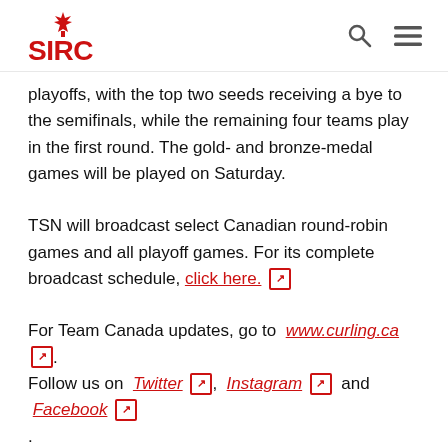SIRC
playoffs, with the top two seeds receiving a bye to the semifinals, while the remaining four teams play in the first round. The gold- and bronze-medal games will be played on Saturday.
TSN will broadcast select Canadian round-robin games and all playoff games. For its complete broadcast schedule, click here.
For Team Canada updates, go to www.curling.ca. Follow us on Twitter, Instagram and Facebook.
For the list of teams, draw information and live